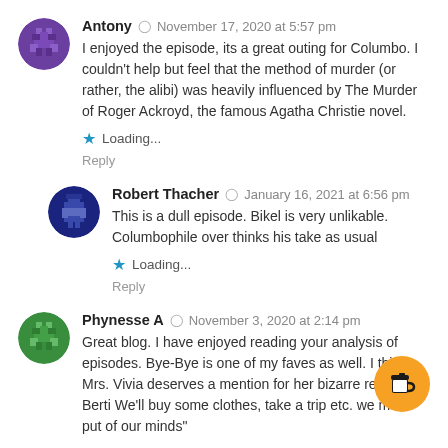Antony · November 17, 2020 at 5:57 pm
I enjoyed the episode, its a great outing for Columbo. I couldn't help but feel that the method of murder (or rather, the alibi) was heavily influenced by The Murder of Roger Ackroyd, the famous Agatha Christie novel.
★ Loading...
Reply
Robert Thacher · January 16, 2021 at 6:56 pm
This is a dull episode. Bikel is very unlikable. Columbophile over thinks his take as usual
★ Loading...
Reply
Phynesse A · November 3, 2020 at 2:14 pm
Great blog. I have enjoyed reading your analysis of episodes. Bye-Bye is one of my faves as well. I think Mrs. Vivia deserves a mention for her bizarre reaction to Berti We'll buy some clothes, take a trip etc. we must put of our minds"